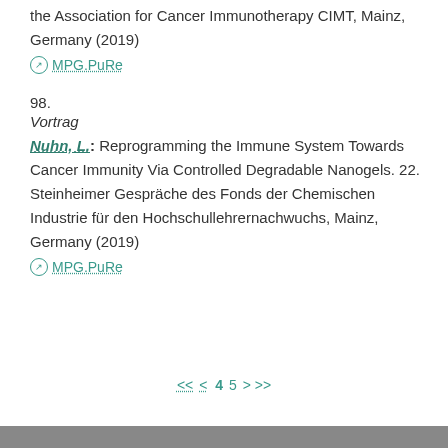the Association for Cancer Immunotherapy CIMT, Mainz, Germany (2019)
⊘ MPG.PuRe
98.
Vortrag
Nuhn, L.: Reprogramming the Immune System Towards Cancer Immunity Via Controlled Degradable Nanogels. 22. Steinheimer Gespräche des Fonds der Chemischen Industrie für den Hochschullehrernachwuchs, Mainz, Germany (2019)
⊘ MPG.PuRe
<< < 4 5 > >>